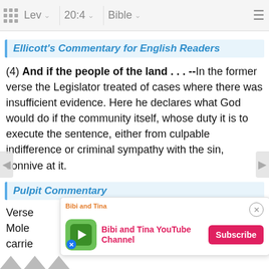Lev  20:4  Bible
Ellicott's Commentary for English Readers
(4) And if the people of the land . . . --In the former verse the Legislator treated of cases where there was insufficient evidence. Here he declares what God would do if the community itself, whose duty it is to execute the sentence, either from culpable indifference or criminal sympathy with the sin, connive at it.
Pulpit Commentary
Verses 4, 5.-- There is to be no connivance with Molech worship ... be carried ... ness